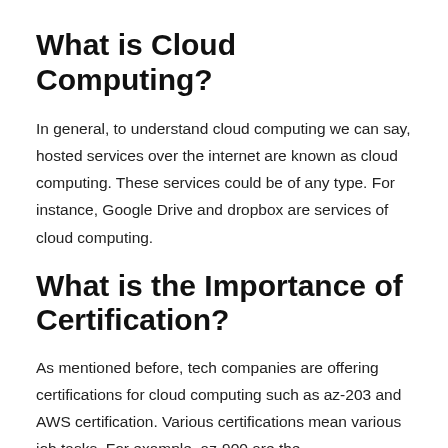What is Cloud Computing?
In general, to understand cloud computing we can say, hosted services over the internet are known as cloud computing. These services could be of any type. For instance, Google Drive and dropbox are services of cloud computing.
What is the Importance of Certification?
As mentioned before, tech companies are offering certifications for cloud computing such as az-203 and AWS certification. Various certifications mean various job tasks. For example, az-900 are the